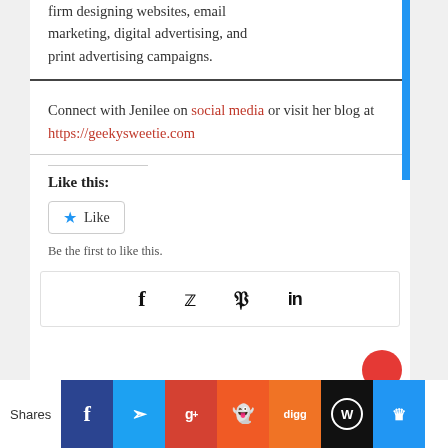firm designing websites, email marketing, digital advertising, and print advertising campaigns.
Connect with Jenilee on social media or visit her blog at https://geekysweetie.com
Like this:
Be the first to like this.
[Figure (infographic): Social share icons row: Facebook (f), Twitter (bird), Pinterest (p), LinkedIn (in)]
Shares | Facebook | Twitter | Google+ | Reddit | Digg | WordPress | Crown